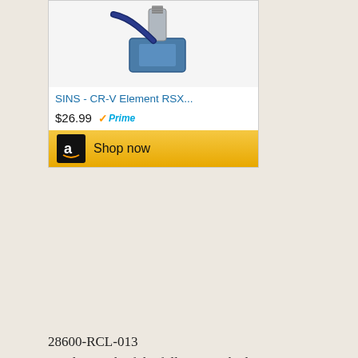[Figure (screenshot): Amazon product listing card showing a sensor part (SINS - CR-V Element RSX...) priced at $26.99 with Prime badge and Shop now button]
28600-RCL-013
Used on each of the following vehicles:
2005-2011 Honda CR-V
2007-2008 Honda Element
2006 Acura RSX
2004-2008 Acura TSX
Please verify part with manufacturer before purchase